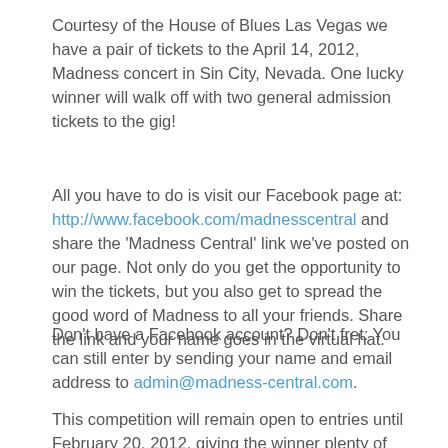Courtesy of the House of Blues Las Vegas we have a pair of tickets to the April 14, 2012, Madness concert in Sin City, Nevada. One lucky winner will walk off with two general admission tickets to the gig!
All you have to do is visit our Facebook page at: http://www.facebook.com/madnesscentral and share the 'Madness Central' link we've posted on our page. Not only do you get the opportunity to win the tickets, but you also get to spread the good word of Madness to all your friends. Share the link and your name goes in the virtual hat.
Don't have a Facebook account? Don't fret: You can still enter by sending your name and email address to admin@madness-central.com.
This competition will remain open to entries until February 20, 2012, giving the winner plenty of time to make arrangements to join us on the Las Vegas Strip and is at the getting to know us on all...